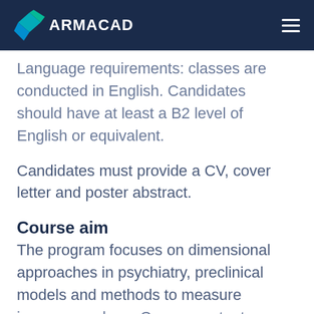ARMACAD
Language requirements: classes are conducted in English. Candidates should have at least a B2 level of English or equivalent.
Candidates must provide a CV, cover letter and poster abstract.
Course aim
The program focuses on dimensional approaches in psychiatry, preclinical models and methods to measure immune markers. Course content